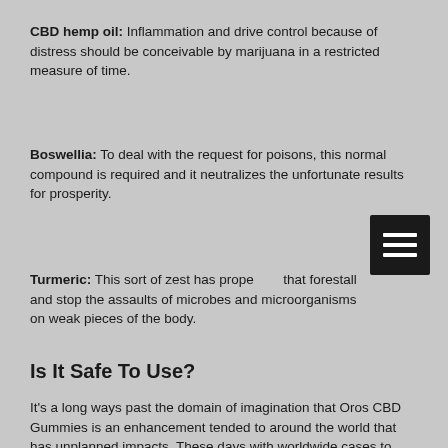CBD hemp oil: Inflammation and drive control because of distress should be conceivable by marijuana in a restricted measure of time.
Boswellia: To deal with the request for poisons, this normal compound is required and it neutralizes the unfortunate results for prosperity.
Turmeric: This sort of zest has properties that forestall and stop the assaults of microbes and microorganisms on weak pieces of the body.
Is It Safe To Use?
It's a long ways past the domain of imagination that Oros CBD Gummies is an enhancement tended to around the world that has unplanned impacts. These days with worldwide cases to demonstrate this